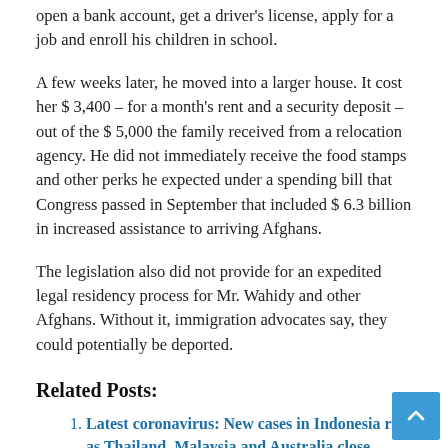open a bank account, get a driver's license, apply for a job and enroll his children in school.
A few weeks later, he moved into a larger house. It cost her $ 3,400 – for a month's rent and a security deposit – out of the $ 5,000 the family received from a relocation agency. He did not immediately receive the food stamps and other perks he expected under a spending bill that Congress passed in September that included $ 6.3 billion in increased assistance to arriving Afghans.
The legislation also did not provide for an expedited legal residency process for Mr. Wahidy and other Afghans. Without it, immigration advocates say, they could potentially be deported.
Related Posts:
Latest coronavirus: New cases in Indonesia rise as Thailand, Malaysia and Australia close